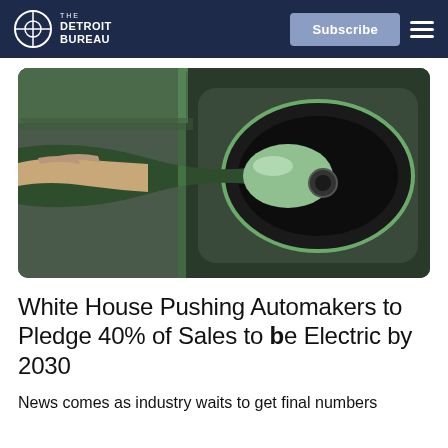The Detroit Bureau
[Figure (photo): Close-up photo of a hand plugging an EV charging connector into a dark-colored electric vehicle charge port. The charger and vehicle appear in dark green/black tones.]
White House Pushing Automakers to Pledge 40% of Sales to be Electric by 2030
News comes as industry waits to get final numbers